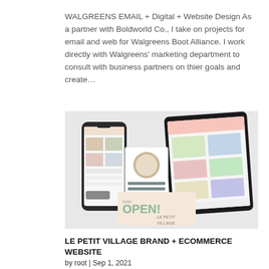WALGREENS EMAIL + Digital + Website Design As a partner with Boldworld Co., I take on projects for email and web for Walgreens Boot Alliance. I work directly with Walgreens' marketing department to consult with business partners on thier goals and create...
[Figure (photo): Mockup showing a smartphone, business card, email template, and a tablet displaying the Le Petit Village website with colorful product images and a 'now OPEN!' promotional banner]
LE PETIT VILLAGE BRAND + ECOMMERCE WEBSITE
by root | Sep 1, 2021